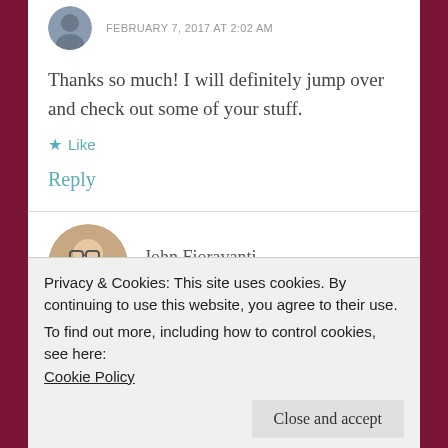FEBRUARY 7, 2017 AT 2:02 AM
Thanks so much! I will definitely jump over and check out some of your stuff.
★ Like
Reply
John Fioravanti
FEBRUARY 7, 2017 AT 1:51 PM
Privacy & Cookies: This site uses cookies. By continuing to use this website, you agree to their use.
To find out more, including how to control cookies, see here:
Cookie Policy
Close and accept